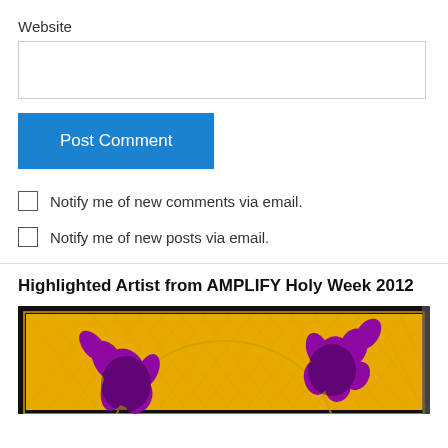Website
Post Comment
Notify me of new comments via email.
Notify me of new posts via email.
Highlighted Artist from AMPLIFY Holy Week 2012
[Figure (photo): Artwork photo showing purple flower/bird-like figures against a golden yellow patterned background with a black frame]